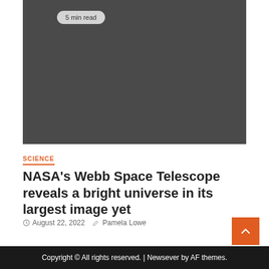[Figure (photo): Dark/placeholder hero image area for a news article about NASA's Webb Space Telescope]
5 min read
SCIENCE
NASA’s Webb Space Telescope reveals a bright universe in its largest image yet
August 22, 2022   Pamela Lowe
Copyright © All rights reserved. | Newsever by AF themes.